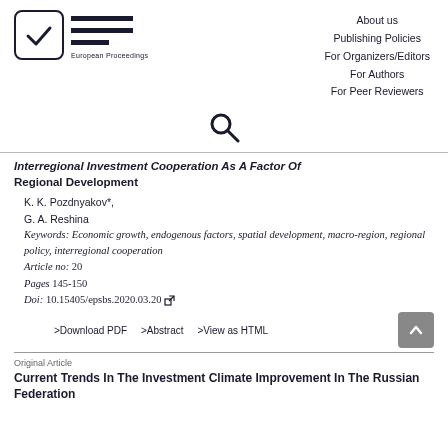[Figure (logo): European Proceedings logo with checkbox icon and EP symbol]
About us
Publishing Policies
For Organizers/Editors
For Authors
For Peer Reviewers
[Figure (other): Search icon (magnifying glass)]
Interregional Investment Cooperation As A Factor Of Regional Development
K. K. Pozdnyakov*,
G. A. Reshina
Keywords: Economic growth, endogenous factors, spatial development, macro-region, regional policy, interregional cooperation
Article no: 20
Pages 145-150
Doi: 10.15405/epsbs.2020.03.20
>Download PDF    >Abstract    >View as HTML
Original Article
Current Trends In The Investment Climate Improvement In The Russian Federation